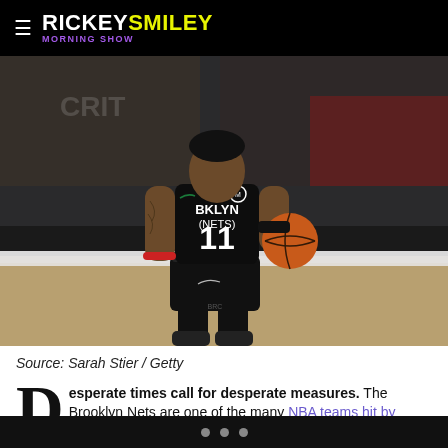RICKEY SMILEY MORNING SHOW
[Figure (photo): Brooklyn Nets player #11 in black BKLYN Nets uniform dribbling a basketball on court]
Source: Sarah Stier / Getty
Desperate times call for desperate measures. The Brooklyn Nets are one of the many NBA teams hit by